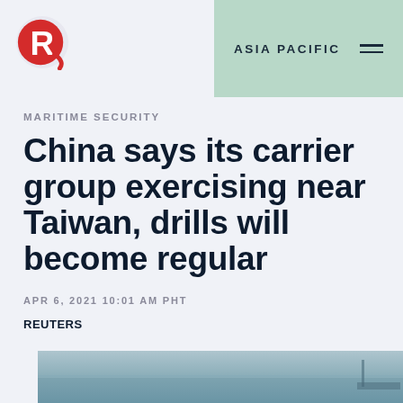ASIA PACIFIC
MARITIME SECURITY
China says its carrier group exercising near Taiwan, drills will become regular
APR 6, 2021 10:01 AM PHT
REUTERS
[Figure (photo): Partial photograph of a naval scene, showing a grey sea horizon with what appears to be a ship or naval vessel, cropped at the bottom of the page.]